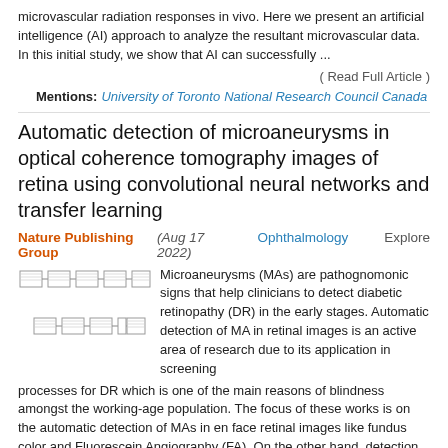microvascular radiation responses in vivo. Here we present an artificial intelligence (AI) approach to analyze the resultant microvascular data. In this initial study, we show that AI can successfully ...
( Read Full Article )
Mentions:  University of Toronto  National Research Council Canada
Automatic detection of microaneurysms in optical coherence tomography images of retina using convolutional neural networks and transfer learning
Nature Publishing Group (Aug 17 2022)  Ophthalmology  Explore
[Figure (flowchart): A flowchart diagram showing connected rectangular boxes arranged in two rows representing a neural network or processing pipeline architecture.]
Microaneurysms (MAs) are pathognomonic signs that help clinicians to detect diabetic retinopathy (DR) in the early stages. Automatic detection of MA in retinal images is an active area of research due to its application in screening processes for DR which is one of the main reasons of blindness amongst the working-age population. The focus of these works is on the automatic detection of MAs in en face retinal images like fundus color and Fluorescein Angiography (FA). On the other hand, detection of MAs from Optical Coherence Tomography (OCT) images has 2 main advantages: first, OCT is a non-invasive imaging technique ...
( Read Full Article )